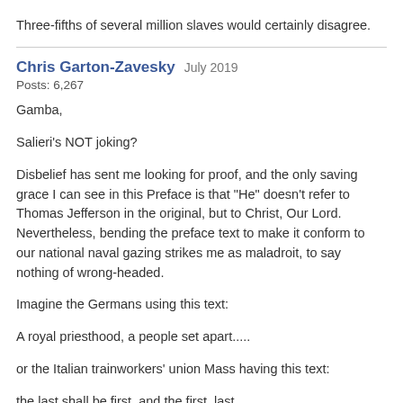Three-fifths of several million slaves would certainly disagree.
Chris Garton-Zavesky   July 2019
Posts: 6,267
Gamba,
Salieri's NOT joking?
Disbelief has sent me looking for proof, and the only saving grace I can see in this Preface is that "He" doesn't refer to Thomas Jefferson in the original, but to Christ, Our Lord. Nevertheless, bending the preface text to make it conform to our national naval gazing strikes me as maladroit, to say nothing of wrong-headed.
Imagine the Germans using this text:
A royal priesthood, a people set apart.....
or the Italian trainworkers' union Mass having this text:
the last shall be first, and the first, last.